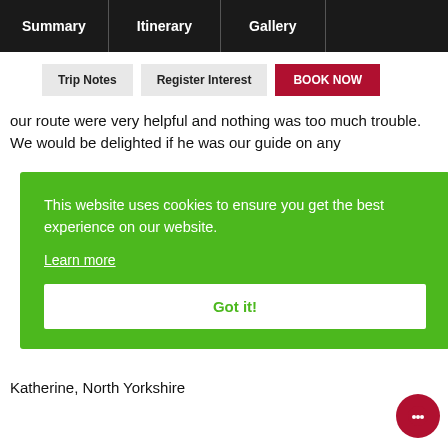Summary | Itinerary | Gallery
Trip Notes
Register Interest
BOOK NOW
our route were very helpful and nothing was too much trouble. We would be delighted if he was our guide on any
[Figure (other): Green cookie consent banner overlay with text: 'This website uses cookies to ensure you get the best experience on our website.' with a 'Learn more' link and a 'Got it!' button]
Katherine, North Yorkshire